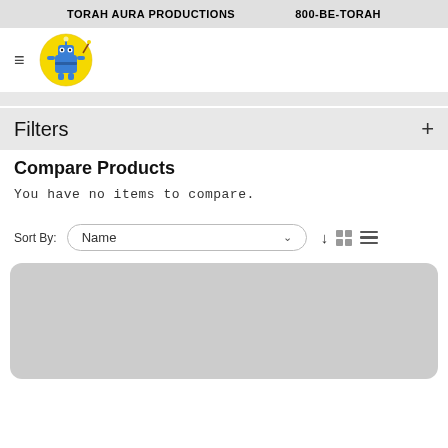TORAH AURA PRODUCTIONS    800-BE-TORAH
[Figure (logo): Torah Aura Productions mascot logo: a cartoon blue robot/creature character on a yellow circle background]
Filters +
Compare Products
You have no items to compare.
Sort By: Name
[Figure (screenshot): Grey rounded rectangle product card area, partially visible at bottom of page]